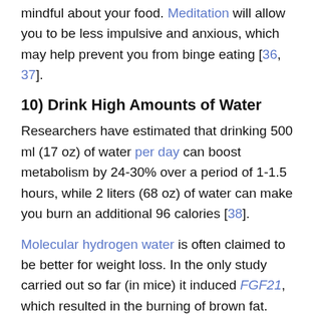mindful about your food. Meditation will allow you to be less impulsive and anxious, which may help prevent you from binge eating [36, 37].
10) Drink High Amounts of Water
Researchers have estimated that drinking 500 ml (17 oz) of water per day can boost metabolism by 24-30% over a period of 1-1.5 hours, while 2 liters (68 oz) of water can make you burn an additional 96 calories [38].
Molecular hydrogen water is often claimed to be better for weight loss. In the only study carried out so far (in mice) it induced FGF21, which resulted in the burning of brown fat. Whether hydrogen water has the same effects in humans remains unknown [39].
11) Get a Sauna